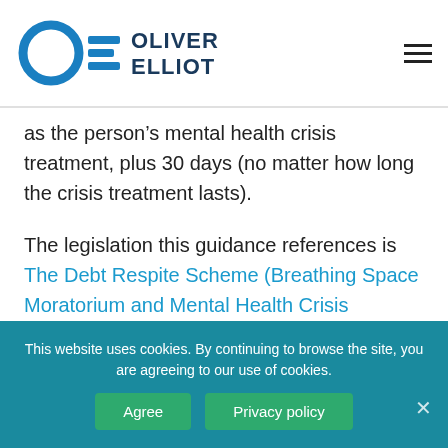Oliver Elliot logo and navigation
as the person's mental health crisis treatment, plus 30 days (no matter how long the crisis treatment lasts).
The legislation this guidance references is The Debt Respite Scheme (Breathing Space Moratorium and Mental Health Crisis Moratorium) (England and Wales) Regulations 2020. This guidance is
This website uses cookies. By continuing to browse the site, you are agreeing to our use of cookies.